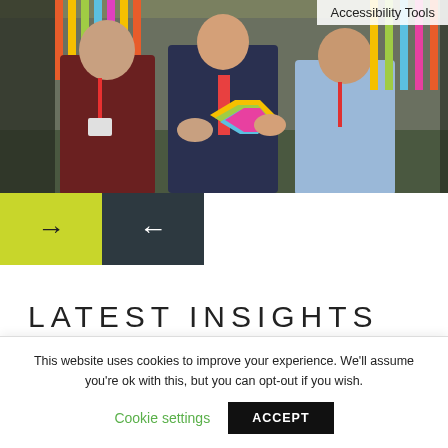[Figure (photo): Three men standing outdoors near a colorful fence, holding a hexagonal Vexed Solutions branded award or certificate. The man on the left wears a dark red jumper, the man in the middle wears a suit with a tie, and the man on the right wears a light blue shirt. They are holding a multicolored geometric shape.]
Accessibility Tools
[Figure (other): Navigation slider buttons: yellow/lime button with right arrow, dark grey button with left arrow]
LATEST INSIGHTS
This website uses cookies to improve your experience. We'll assume you're ok with this, but you can opt-out if you wish.
Cookie settings
ACCEPT